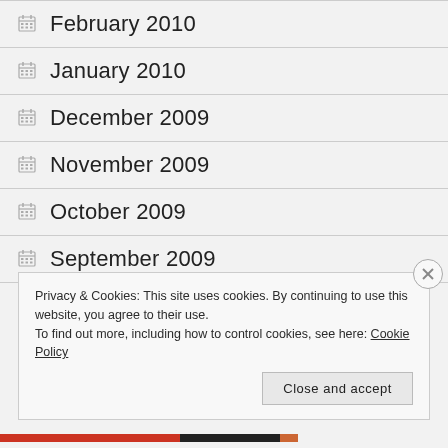February 2010
January 2010
December 2009
November 2009
October 2009
September 2009
Privacy & Cookies: This site uses cookies. By continuing to use this website, you agree to their use.
To find out more, including how to control cookies, see here: Cookie Policy
Close and accept